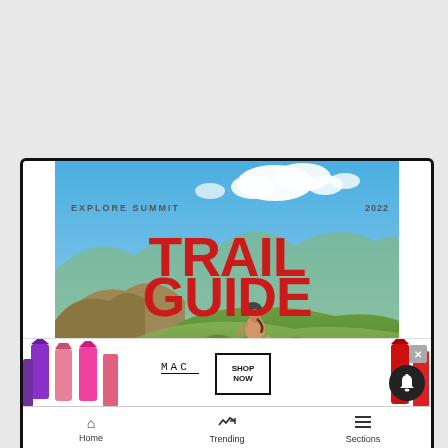[Figure (screenshot): Screenshot of a mobile website showing the Explore Summit 2022 Trail Guide cover image with a mountain biker on green hills under blue sky, overlaid with a MAC cosmetics advertisement banner and a bottom navigation bar with Home, Trending, and Sections tabs. A notification bell icon and close (X) button are visible.]
EXPLORE SUMMIT
2022
TRAIL GUIDE
[Figure (infographic): MAC cosmetics advertisement banner showing colorful lipsticks, MAC logo, and SHOP NOW button]
SHOP NOW
Home
Trending
Sections